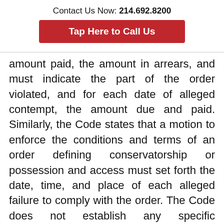Contact Us Now: 214.692.8200
Tap Here to Call Us
amount paid, the amount in arrears, and must indicate the part of the order violated, and for each date of alleged contempt, the amount due and paid. Similarly, the Code states that a motion to enforce the conditions and terms of an order defining conservatorship or possession and access must set forth the date, time, and place of each alleged failure to comply with the order. The Code does not establish any specific parameters for what a party seeking enforcement of a spousal maintenance or other post-divorce decree order via contempt must include in their